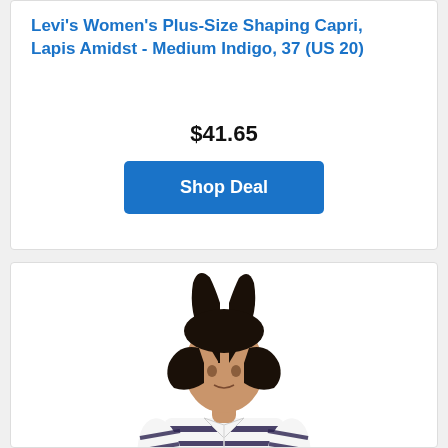Levi's Women's Plus-Size Shaping Capri, Lapis Amidst - Medium Indigo, 37 (US 20)
$41.65
Shop Deal
[Figure (photo): Man wearing a white and navy striped short-sleeve polo shirt with khaki/olive pants, photographed from waist up against white background]